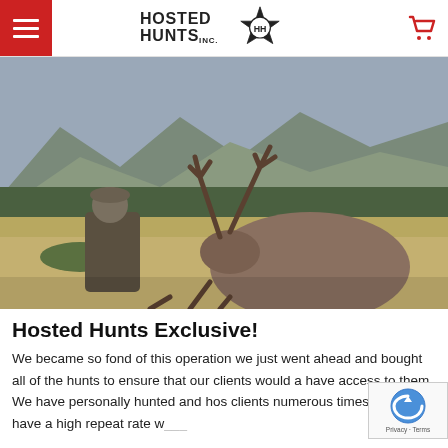Hosted Hunts Inc. — navigation header with hamburger menu and cart
[Figure (photo): Hunter in camouflage posing behind a harvested bull elk with large antlers in a mountain meadow with trees and rocky peaks in background]
Hosted Hunts Exclusive!
We became so fond of this operation we just went ahead and bought all of the hunts to ensure that our clients would a have access to them. We have personally hunted and hos clients numerous times and we have a high repeat rate w...